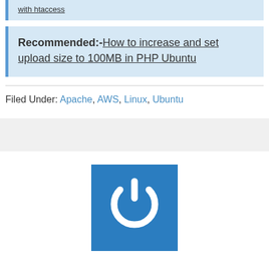with htaccess
Recommended:-How to increase and set upload size to 100MB in PHP Ubuntu
Filed Under: Apache, AWS, Linux, Ubuntu
[Figure (logo): Blue square logo with white power button icon]